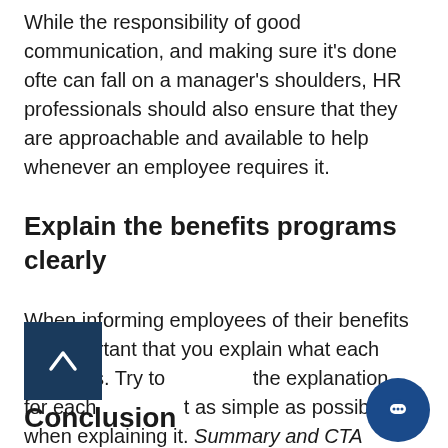While the responsibility of good communication, and making sure it's done ofte can fall on a manager's shoulders, HR professionals should also ensure that they are approachable and available to help whenever an employee requires it.
Explain the benefits programs clearly
When informing employees of their benefits it’s important that you explain what each benefit is. Try to keep the explanation for each benefit as simple as possible when explaining it. Summary and CTA
Conclusion